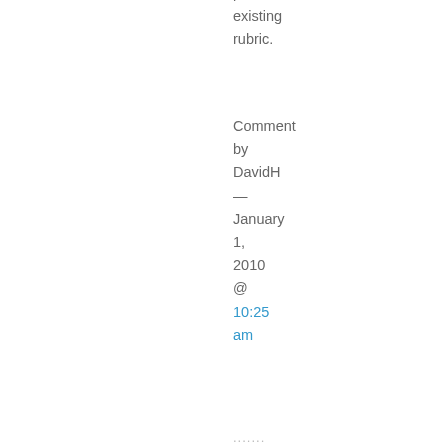pre-existing rubric.
Comment by DavidH — January 1, 2010 @ 10:25 am
......
6. The teachers in our RS tend to come from the younger end